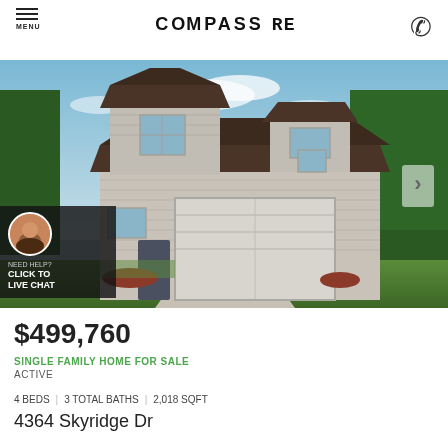COMPASS RE
[Figure (photo): Exterior photo of a two-story single family home with gray siding, dark brown roof, two-car garage, and landscaping. A live chat widget with an agent avatar is overlaid in the lower left corner.]
$499,760
SINGLE FAMILY HOME FOR SALE
ACTIVE
4 BEDS  |  3 TOTAL BATHS  |  2,018 SQFT
4364 Skyridge Dr